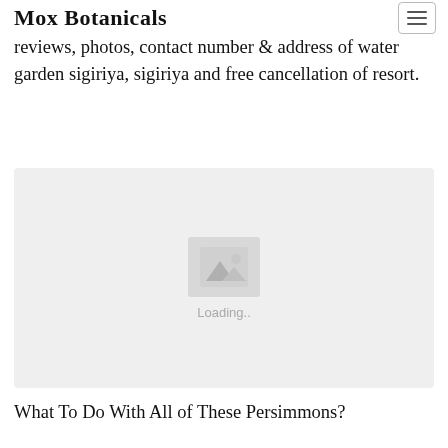Mox Botanicals
reviews, photos, contact number & address of water garden sigiriya, sigiriya and free cancellation of resort.
[Figure (photo): Image placeholder with a mountain/photo icon and 'Loading..' text on a light grey background]
What To Do With All of These Persimmons?